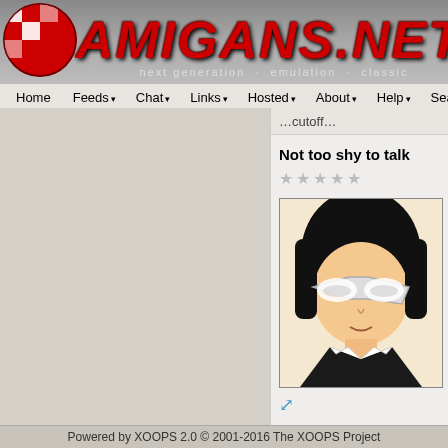AMIGANS.NET — next generation · emulation · classic
Home Feeds Chat Links Hosted About Help Search
...cutoff...
Not too shy to talk
[Figure (illustration): Anime character avatar with black hair and white reflective glasses, dark suit.]
@Troels
Quote:
Troels wrote: @LiveForIt

To be honest... have tried.
Seems that
http://www.mugen...
Wasnt so bad...
I see it at work at
Powered by XOOPS 2.0 © 2001-2016 The XOOPS Project